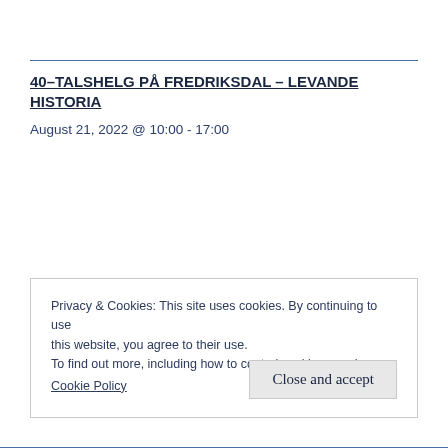40–TALSHELG PÅ FREDRIKSDAL – LEVANDE HISTORIA
August 21, 2022 @ 10:00 - 17:00
Privacy & Cookies: This site uses cookies. By continuing to use this website, you agree to their use.
To find out more, including how to control cookies, see here:
Cookie Policy
Close and accept